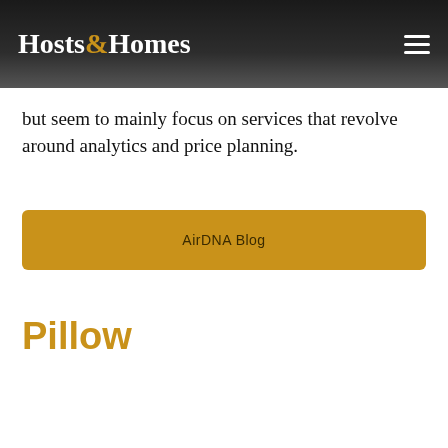Hosts&Homes
but seem to mainly focus on services that revolve around analytics and price planning.
AirDNA Blog
Pillow